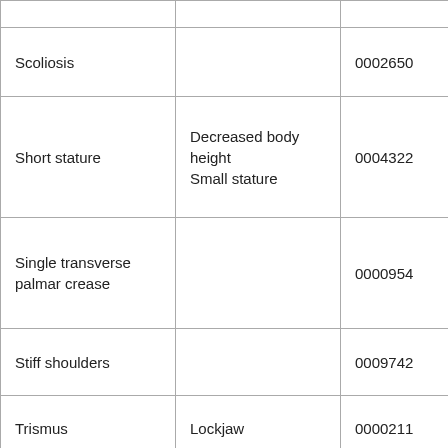|  |  |  |
| Scoliosis |  | 0002650 |
| Short stature | Decreased body height
Small stature | 0004322 |
| Single transverse palmar crease |  | 0000954 |
| Stiff shoulders |  | 0009742 |
| Trismus | Lockjaw | 0000211 |
| Ulnar deviation of the hand or of fingers of the hand |  | 0001193 |